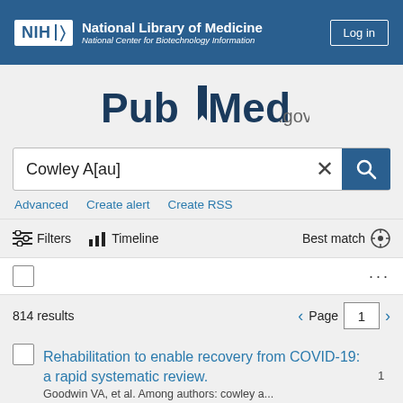NIH National Library of Medicine National Center for Biotechnology Information | Log in
[Figure (logo): PubMed.gov logo]
Cowley A[au]
Advanced   Create alert   Create RSS
Filters   Timeline   Best match
814 results   Page 1
1. Rehabilitation to enable recovery from COVID-19: a rapid systematic review.
Goodwin VA, et al. Among authors: cowley a...